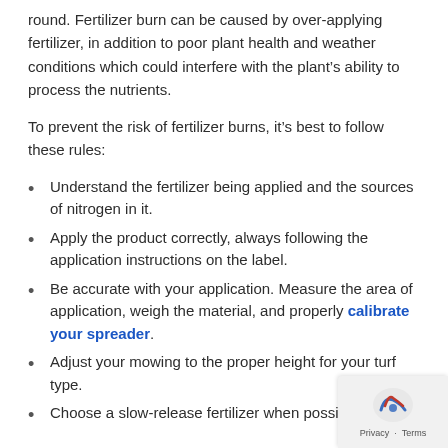round. Fertilizer burn can be caused by over-applying fertilizer, in addition to poor plant health and weather conditions which could interfere with the plant's ability to process the nutrients.
To prevent the risk of fertilizer burns, it's best to follow these rules:
Understand the fertilizer being applied and the sources of nitrogen in it.
Apply the product correctly, always following the application instructions on the label.
Be accurate with your application. Measure the area of application, weigh the material, and properly calibrate your spreader.
Adjust your mowing to the proper height for your turf type.
Choose a slow-release fertilizer when possible.
Following these guidelines, you can limit the potential for fertilizer burn and keep your turf looking fantastic all y...